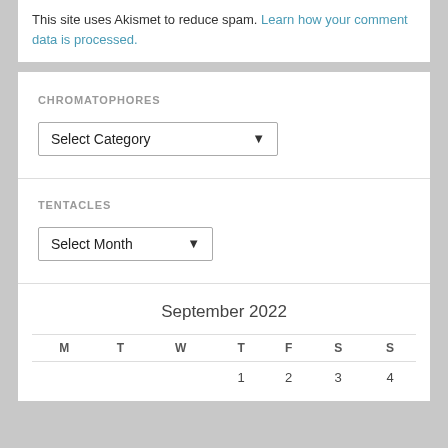This site uses Akismet to reduce spam. Learn how your comment data is processed.
CHROMATOPHORES
[Figure (screenshot): Dropdown select element labeled 'Select Category']
TENTACLES
[Figure (screenshot): Dropdown select element labeled 'Select Month']
September 2022
| M | T | W | T | F | S | S |
| --- | --- | --- | --- | --- | --- | --- |
|  |  |  | 1 | 2 | 3 | 4 |